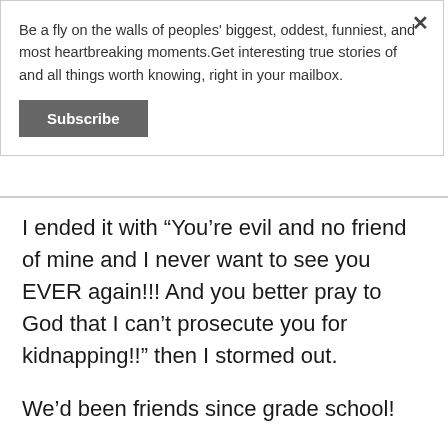Be a fly on the walls of peoples' biggest, oddest, funniest, and most heartbreaking moments.Get interesting true stories of and all things worth knowing, right in your mailbox.
Subscribe
I ended it with "You're evil and no friend of mine and I never want to see you EVER again!!! And you better pray to God that I can't prosecute you for kidnapping!!" then I stormed out.
We'd been friends since grade school!
How she could have done that to us is beyond me, and I could have easily beat the crap out of her but chose the high road.